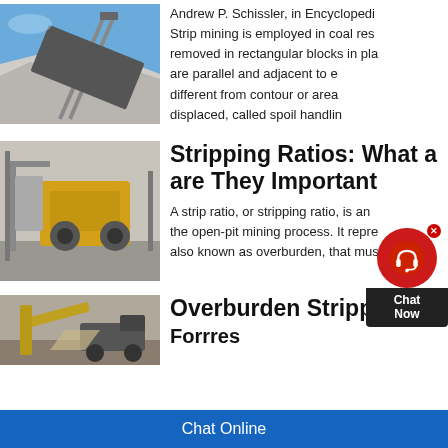[Figure (photo): Mining conveyor belt and rock pile against blue sky]
Andrew P. Schissler, in Encyclopedi... Strip mining is employed in coal res... removed in rectangular blocks in pla... are parallel and adjacent to e... th... different from contour or area... g... displaced, called spoil handlin...
[Figure (photo): Yellow mining equipment/crusher machinery]
Stripping Ratios: What a... are They Important
A strip ratio, or stripping ratio, is an... the open-pit mining process. It repre... also known as overburden, that mus...
[Figure (photo): Overburden stripping machinery and truck]
Overburden Stripping H... Forrres...
Chat Online